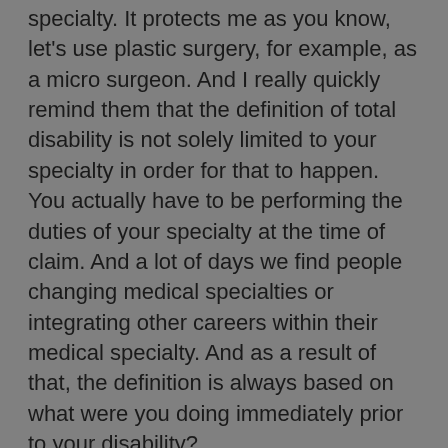specialty. It protects me as you know, let's use plastic surgery, for example, as a micro surgeon. And I really quickly remind them that the definition of total disability is not solely limited to your specialty in order for that to happen. You actually have to be performing the duties of your specialty at the time of claim. And a lot of days we find people changing medical specialties or integrating other careers within their medical specialty. And as a result of that, the definition is always based on what were you doing immediately prior to your disability?
Larry Keller (00:03:46):